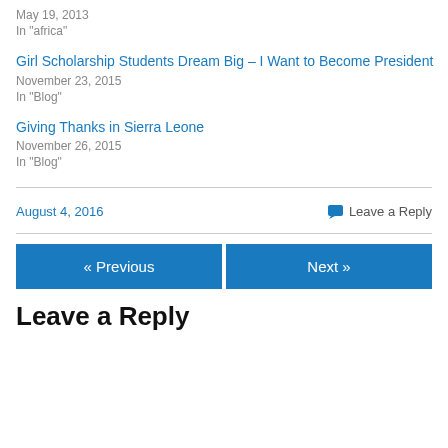May 19, 2013
In "africa"
Girl Scholarship Students Dream Big – I Want to Become President
November 23, 2015
In "Blog"
Giving Thanks in Sierra Leone
November 26, 2015
In "Blog"
August 4, 2016
Leave a Reply
« Previous
Next »
Leave a Reply